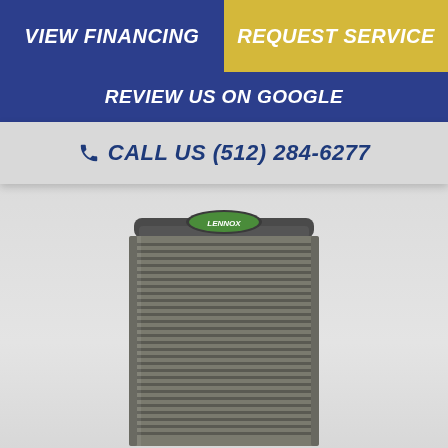VIEW FINANCING
REQUEST SERVICE
REVIEW US ON GOOGLE
CALL US (512) 284-6277
[Figure (photo): Lennox central air conditioning unit / HVAC outdoor condenser unit, gray metal with horizontal vent slats and Lennox logo on top panel]